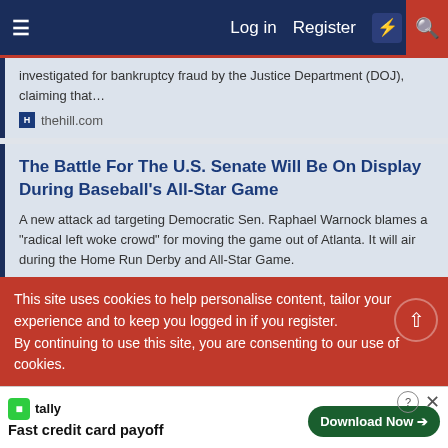≡  Log in  Register  ⚡  🔍
investigated for bankruptcy fraud by the Justice Department (DOJ), claiming that…
thehill.com
The Battle For The U.S. Senate Will Be On Display During Baseball's All-Star Game
A new attack ad targeting Democratic Sen. Raphael Warnock blames a "radical left woke crowd" for moving the game out of Atlanta. It will air during the Home Run Derby and All-Star Game.
www.npr.org
Juan Williams: Republicans prefer Trump's
This site uses cookies to help personalise content, tailor your experience and to keep you logged in if you register.
By continuing to use this site, you are consenting to our use of cookies.
tally Fast credit card payoff  Download Now →
✓ Acc